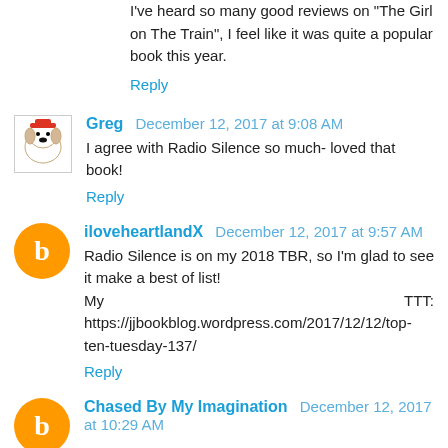I've heard so many good reviews on "The Girl on The Train", I feel like it was quite a popular book this year.
Reply
Greg  December 12, 2017 at 9:08 AM
I agree with Radio Silence so much- loved that book!
Reply
iloveheartlandX  December 12, 2017 at 9:57 AM
Radio Silence is on my 2018 TBR, so I'm glad to see it make a best of list!
My TTT: https://jjbookblog.wordpress.com/2017/12/12/top-ten-tuesday-137/
Reply
Chased By My Imagination  December 12, 2017 at 10:29 AM